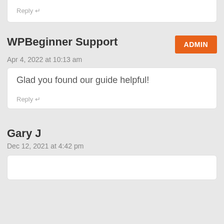Reply ↵
WPBeginner Support
ADMIN
Apr 4, 2022 at 10:13 am
Glad you found our guide helpful!
Reply ↵
Gary J
Dec 12, 2021 at 4:42 pm